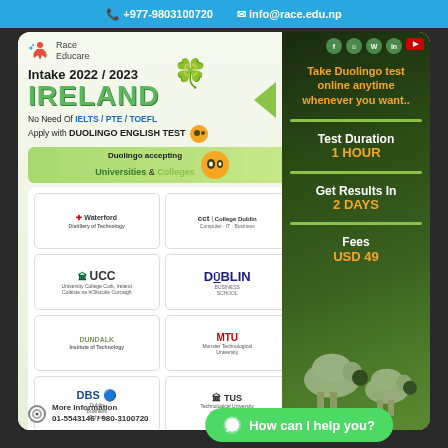📞 +977-9803100720  ✉ info@race.edu.np
[Figure (logo): Race Educare logo with running figure icon]
Intake 2022 / 2023
IRELAND
No Need Of IELTS / PTE / TOEFL
Apply with DUOLINGO ENGLISH TEST
Duolingo accepting Universities & Colleges
[Figure (logo): Waterford Distillery of Technology logo]
[Figure (logo): CCT College Dublin logo]
[Figure (logo): UCC University College Cork Ireland logo]
[Figure (logo): Dublin Business School logo]
[Figure (logo): Dundalk Institute of Technology logo]
[Figure (logo): MTU Munster Technological University logo]
[Figure (logo): DBS Dublin Business School logo]
[Figure (logo): TUS Technological University of the Shannon logo]
Take Duolingo test online anytime whenever you want..
Test Duration
1 HOUR
Get Results In
2 DAYS
Fees
USD 49
More Information
01-5543146 / 980-3100720
How can I help you?